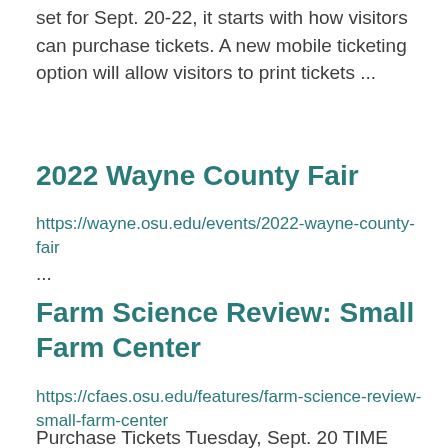set for Sept. 20-22, it starts with how visitors can purchase tickets. A new mobile ticketing option will allow visitors to print tickets ...
2022 Wayne County Fair
https://wayne.osu.edu/events/2022-wayne-county-fair
...
Farm Science Review: Small Farm Center
https://cfaes.osu.edu/features/farm-science-review-small-farm-center
Purchase Tickets Tuesday, Sept. 20 TIME